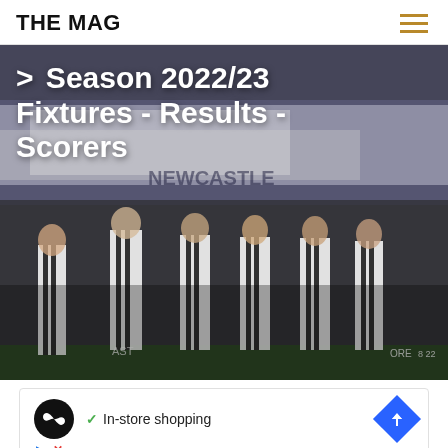THE MAG
[Figure (photo): Newcastle United players in black and white striped kits lined up on a football pitch with supporters holding large banners and flags in the crowd background]
> Season 2022/23 Fixtures - Results - Scorers
[Figure (other): Advertisement banner showing a circular black logo with infinity-like symbol, a checkmark with 'In-store shopping' text, and a blue diamond-shaped arrow icon, with small play and X icons below]